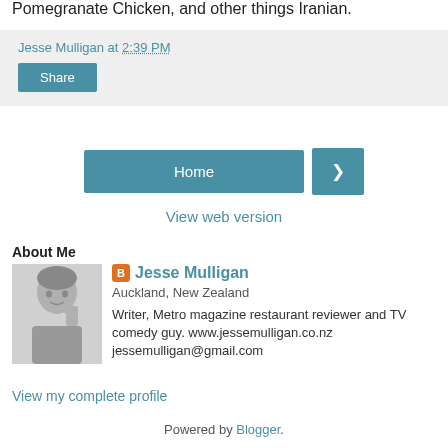Pomegranate Chicken, and other things Iranian.
Jesse Mulligan at 2:39 PM
Share
Home
›
View web version
About Me
[Figure (photo): Black and white photo of Jesse Mulligan, a man holding his hand to his face]
Jesse Mulligan
Auckland, New Zealand
Writer, Metro magazine restaurant reviewer and TV comedy guy. www.jessemulligan.co.nz jessemulligan@gmail.com
View my complete profile
Powered by Blogger.